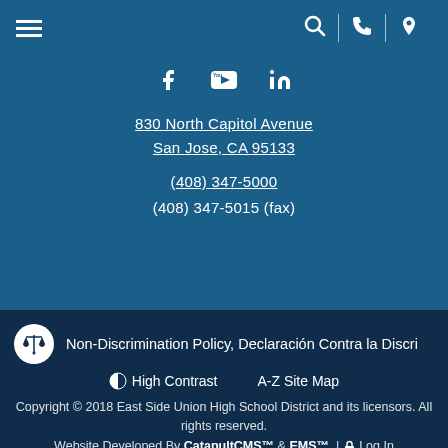Navigation bar with hamburger menu and search, phone, location icons
[Figure (infographic): Social media icons: Facebook, YouTube, LinkedIn]
830 North Capitol Avenue
San Jose, CA 95133
(408) 347-5000
(408) 347-5015 (fax)
Non-Discrimination Policy, Declaración Contra la Discri
High Contrast   A-Z Site Map
Copyright © 2018 East Side Union High School District and its licensors. All rights reserved.
Website Developed By CatapultCMS™ & EMS™. | Log In